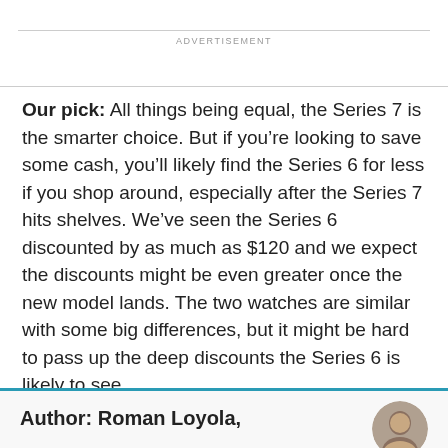ADVERTISEMENT
Our pick: All things being equal, the Series 7 is the smarter choice. But if you're looking to save some cash, you'll likely find the Series 6 for less if you shop around, especially after the Series 7 hits shelves. We've seen the Series 6 discounted by as much as $120 and we expect the discounts might be even greater once the new model lands. The two watches are similar with some big differences, but it might be hard to pass up the deep discounts the Series 6 is likely to see.
Author: Roman Loyola,